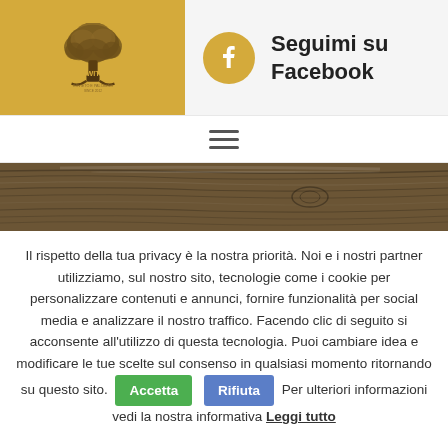[Figure (logo): WIT logo with tree illustration on golden yellow background, left header panel]
Seguimi su Facebook
[Figure (illustration): Dark wood grain texture banner]
Il rispetto della tua privacy è la nostra priorità. Noi e i nostri partner utilizziamo, sul nostro sito, tecnologie come i cookie per personalizzare contenuti e annunci, fornire funzionalità per social media e analizzare il nostro traffico. Facendo clic di seguito si acconsente all'utilizzo di questa tecnologia. Puoi cambiare idea e modificare le tue scelte sul consenso in qualsiasi momento ritornando su questo sito. Accetta Rifiuta Per ulteriori informazioni vedi la nostra informativa Leggi tutto